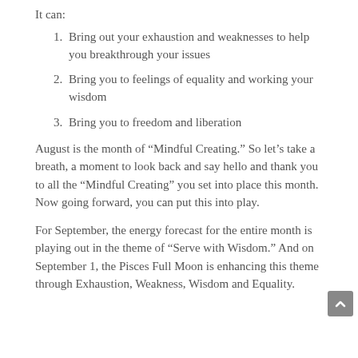It can:
Bring out your exhaustion and weaknesses to help you breakthrough your issues
Bring you to feelings of equality and working your wisdom
Bring you to freedom and liberation
August is the month of “Mindful Creating.” So let’s take a breath, a moment to look back and say hello and thank you to all the “Mindful Creating” you set into place this month. Now going forward, you can put this into play.
For September, the energy forecast for the entire month is playing out in the theme of “Serve with Wisdom.” And on September 1, the Pisces Full Moon is enhancing this theme through Exhaustion, Weakness, Wisdom and Equality.